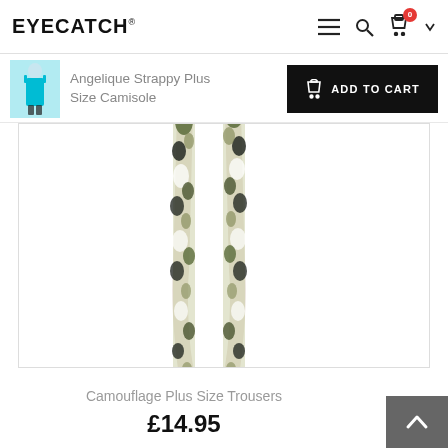EYECATCH®
[Figure (screenshot): Sticky product bar showing thumbnail of Angelique Strappy Plus Size Camisole (teal), product title, and black ADD TO CART button]
Angelique Strappy Plus Size Camisole
[Figure (photo): Photo of Camouflage Plus Size Trousers — legs wearing green/white/dark camouflage pattern leggings, barefoot, on white background]
Camouflage Plus Size Trousers
£14.95